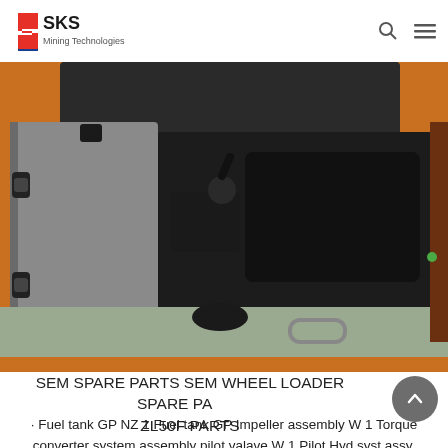SKS Mining Technologies
[Figure (photo): Industrial mining machinery — open panel of an orange wheel loader revealing hydraulic and mechanical components inside. A grey metal access door is open on the left, exposing black hydraulic components and hoses inside the orange machine body.]
SEM SPARE PARTS SEM WHEEL LOADER SPARE PARTS ZL50F PARTS
· Fuel tank GP NZ 1 Fuel tank GP Impeller assembly W 1 Torque converter system assembly pilot valave W 1 Pilot Hyd.syst.assy. Cylinder block W 1 Implement Hyd.syst.assy. rim assembly Z 4